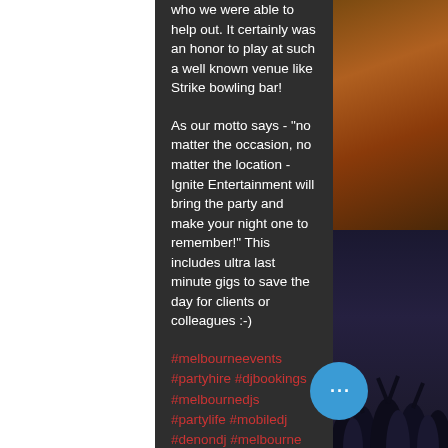who we were able to help out. It certainly was an honor to play at such a well known venue like Strike bowling bar!
As our motto says - "no matter the occasion, no matter the location - Ignite Entertainment will bring the party and make your night one to remember!" This includes ultra last minute gigs to save the day for clients or colleagues :-)
#melbourneevents #partyhire #djbookings #melbournedjs #partylife #mobiledj #denondj #melbourne #dj #partydj #weddingdj #djhire #engagement #weekenddj #birthdaydjs #bestdj#weddingdj